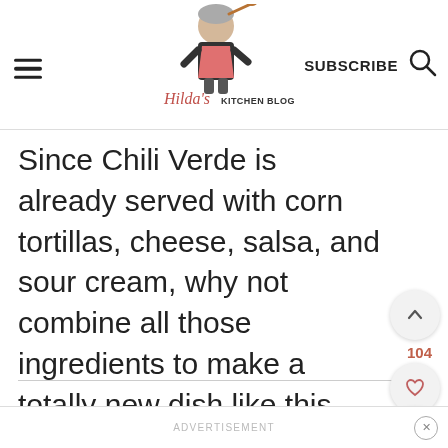Hilda's Kitchen Blog — SUBSCRIBE
Since Chili Verde is already served with corn tortillas, cheese, salsa, and sour cream, why not combine all those ingredients to make a totally new dish like this green enchilada casserole? Genius, right?
Ad